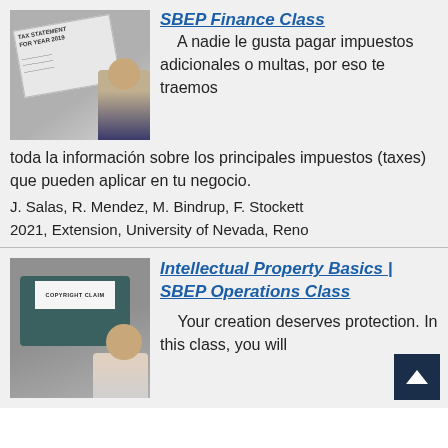[Figure (photo): Tax statement documents and a person in professional attire]
SBEP Finance Class
A nadie le gusta pagar impuestos adicionales o multas, por eso te traemos toda la información sobre los principales impuestos (taxes) que pueden aplicar en tu negocio.
J. Salas, R. Mendez, M. Bindrup, F. Stockett
2021, Extension, University of Nevada, Reno
[Figure (photo): Typewriter with 'COPYRIGHT CLAIM' paper and a person]
Intellectual Property Basics | SBEP Operations Class
Your creation deserves protection. In this class, you will